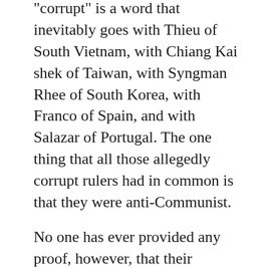“corrupt” is a word that inevitably goes with Thieu of South Vietnam, with Chiang Kai shek of Taiwan, with Syngman Rhee of South Korea, with Franco of Spain, and with Salazar of Portugal. The one thing that all those allegedly corrupt rulers had in common is that they were anti-Communist.
No one has ever provided any proof, however, that their regimes were any more corrupt than a recent administration of unhappy memory in our own Government. It would seem that the Biblical precept, “He that is without sin among you, let him cast the first stone,” should restrain Americans from labeling friendly governments as “corrupt.”